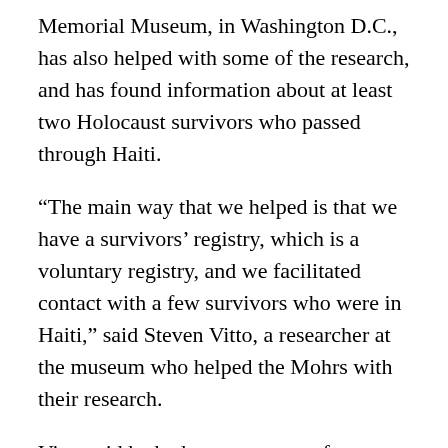Memorial Museum, in Washington D.C., has also helped with some of the research, and has found information about at least two Holocaust survivors who passed through Haiti.
“The main way that we helped is that we have a survivors’ registry, which is a voluntary registry, and we facilitated contact with a few survivors who were in Haiti,” said Steven Vitto, a researcher at the museum who helped the Mohrs with their research.
Vitto said he had come across references to survivors in Haiti during his research previously, on a limited scale.
According to Vitto and the Mohrs, some Holocaust refugees also escaped from Europe by being issued Haitian passports even when their owners had never been to Haiti or planned to go. The passports facilitated their passage to other countries during the war years.